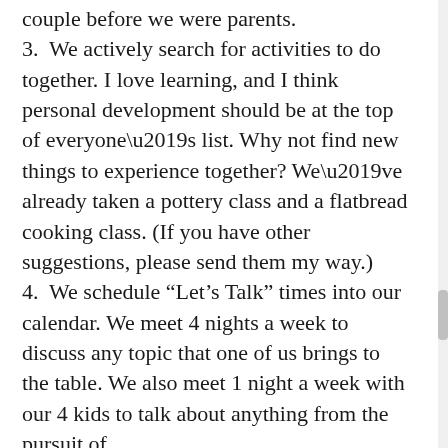couple before we were parents.
3.  We actively search for activities to do together. I love learning, and I think personal development should be at the top of everyone’s list. Why not find new things to experience together? We’ve already taken a pottery class and a flatbread cooking class. (If you have other suggestions, please send them my way.)
4.  We schedule “Let’s Talk” times into our calendar. We meet 4 nights a week to discuss any topic that one of us brings to the table. We also meet 1 night a week with our 4 kids to talk about anything from the pursuit of